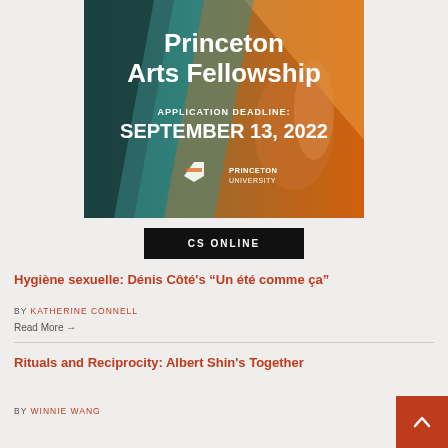[Figure (illustration): Princeton Arts Fellowship promotional banner with orange and teal abstract background, white bold text reading 'Princeton Arts Fellowship', 'APPLICATION DEADLINE:', 'SEPTEMBER 13, 2022', and Princeton University shield logo with text 'PRINCETON UNIVERSITY']
CS ONLINE
Hygiène sexuelle: Dénis Côté's “Un été comme ça”
BY KATHERINE CONNELL
Read More →
Rituals and Reciprocity: Albert Shin's Together
BY WINNIE WANG